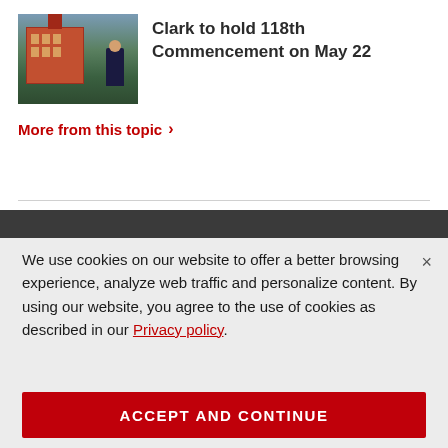[Figure (photo): Photo of a graduate in cap and gown gesturing in front of a red brick university building]
Clark to hold 118th Commencement on May 22
More from this topic >
We use cookies on our website to offer a better browsing experience, analyze web traffic and personalize content. By using our website, you agree to the use of cookies as described in our Privacy policy.
ACCEPT AND CONTINUE